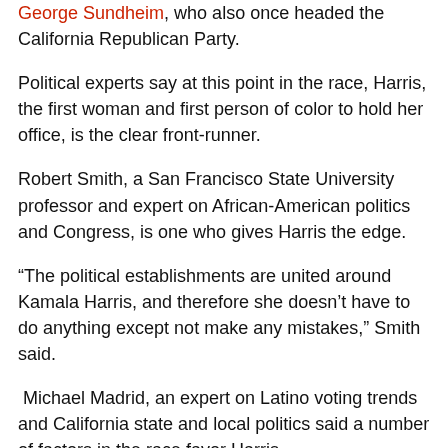George Sundheim, who also once headed the California Republican Party.
Political experts say at this point in the race, Harris, the first woman and first person of color to hold her office, is the clear front-runner.
Robert Smith, a San Francisco State University professor and expert on African-American politics and Congress, is one who gives Harris the edge.
“The political establishments are united around Kamala Harris, and therefore she doesn’t have to do anything except not make any mistakes,” Smith said.
Michael Madrid, an expert on Latino voting trends and California state and local politics said a number of factors in the race favor Harris.
Geography, gender, race and status will be important aspects in this race, Madrid said.  Harris is from San Francisco, and she has the support of the areas highly political residents. San Francisco and the surrounding Bay Area have high voter turnout and dense